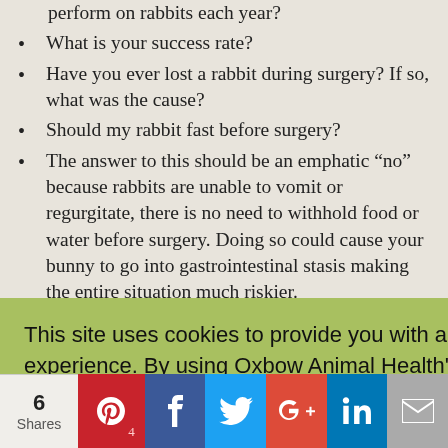perform on rabbits each year?
What is your success rate?
Have you ever lost a rabbit during surgery? If so, what was the cause?
Should my rabbit fast before surgery?
The answer to this should be an emphatic “no” because rabbits are unable to vomit or regurgitate, there is no need to withhold food or water before surgery. Doing so could cause your bunny to go into gastrointestinal stasis making the entire situation much riskier.
This site uses cookies to provide you with a great user experience. By using Oxbow Animal Health's website, you accept our use of cookies.
OK
es do you rgery? Do you biotics? D Critical
6 Shares